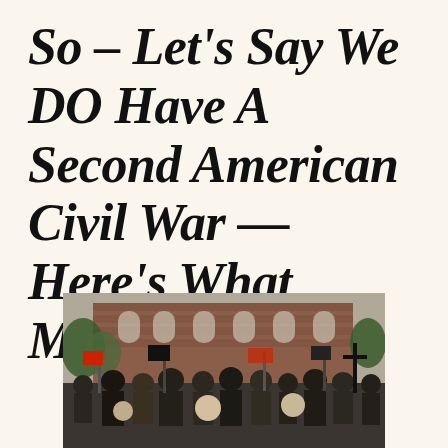So – Let's Say We DO Have A Second American Civil War — Here's What Might Happen
[Figure (photo): A photograph of a large crowd of people gathered outdoors, apparently at a protest or civil unrest event, with flags, signs, and a brick building visible in the background.]